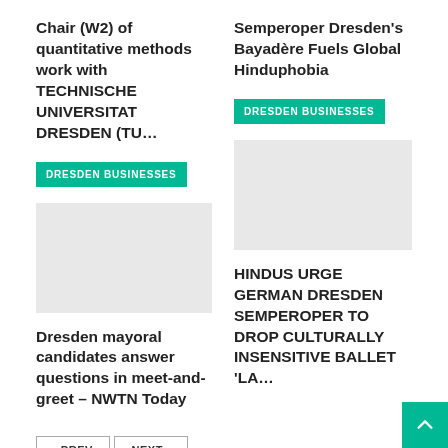Chair (W2) of quantitative methods work with TECHNISCHE UNIVERSITAT DRESDEN (TU…
Semperoper Dresden's Bayadère Fuels Global Hinduphobia
DRESDEN BUSINESSES
DRESDEN BUSINESSES
[Figure (photo): Image placeholder for Dresden mayoral candidates article]
[Figure (photo): Image placeholder for Hindus Urge German Dresden Semperoper article]
Dresden mayoral candidates answer questions in meet-and-greet – NWTN Today
HINDUS URGE GERMAN DRESDEN SEMPEROPER TO DROP CULTURALLY INSENSITIVE BALLET 'LA…
‹ PREV   NEXT ›